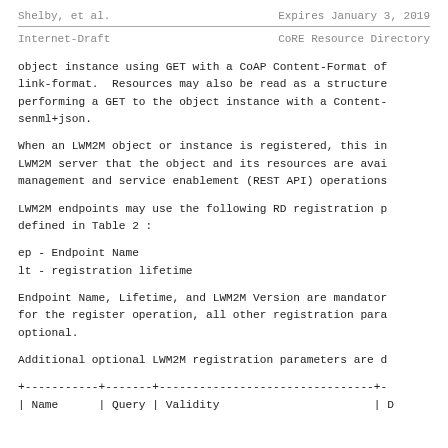Shelby, et al.    Expires January 3, 2019
Internet-Draft    CoRE Resource Directory
object instance using GET with a CoAP Content-Format of link-format.  Resources may also be read as a structure performing a GET to the object instance with a Content- senml+json.
When an LWM2M object or instance is registered, this in LWM2M server that the object and its resources are avai management and service enablement (REST API) operations
LWM2M endpoints may use the following RD registration p defined in Table 2 :
ep - Endpoint Name
lt - registration lifetime
Endpoint Name, Lifetime, and LWM2M Version are mandator for the register operation, all other registration para optional.
Additional optional LWM2M registration parameters are d
| Name | Query | Validity | D |
| --- | --- | --- | --- |